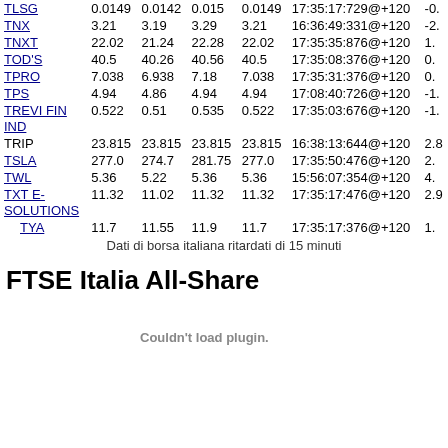| Ticker | Price | Low | High | Close | Time | Chg |
| --- | --- | --- | --- | --- | --- | --- |
| TLSG | 0.0149 | 0.0142 | 0.015 | 0.0149 | 17:25:17:729@+120 | -0. |
| TNX | 3.21 | 3.19 | 3.29 | 3.21 | 16:36:49:331@+120 | -2. |
| TNXT | 22.02 | 21.24 | 22.28 | 22.02 | 17:35:35:876@+120 | 1. |
| TOD'S | 40.5 | 40.26 | 40.56 | 40.5 | 17:35:08:376@+120 | 0. |
| TPRO | 7.038 | 6.938 | 7.18 | 7.038 | 17:35:31:376@+120 | 0. |
| TPS | 4.94 | 4.86 | 4.94 | 4.94 | 17:08:40:726@+120 | -1. |
| TREVI FIN IND | 0.522 | 0.51 | 0.535 | 0.522 | 17:35:03:676@+120 | -1. |
| TRIP | 23.815 | 23.815 | 23.815 | 23.815 | 16:38:13:644@+120 | 2.8 |
| TSLA | 277.0 | 274.7 | 281.75 | 277.0 | 17:35:50:476@+120 | 2. |
| TWL | 5.36 | 5.22 | 5.36 | 5.36 | 15:56:07:354@+120 | 4. |
| TXT E-SOLUTIONS | 11.32 | 11.02 | 11.32 | 11.32 | 17:35:17:476@+120 | 2.9 |
| TYA | 11.7 | 11.55 | 11.9 | 11.7 | 17:35:17:376@+120 | 1. |
Dati di borsa italiana ritardati di 15 minuti
FTSE Italia All-Share
Couldn't load plugin.